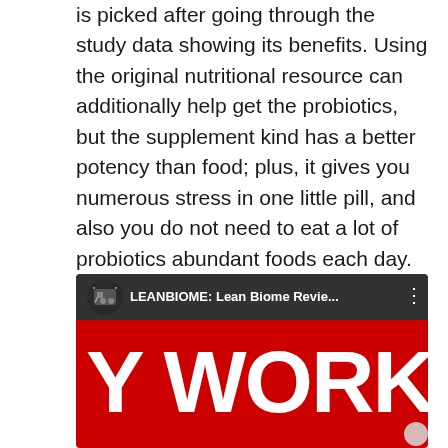is picked after going through the study data showing its benefits. Using the original nutritional resource can additionally help get the probiotics, but the supplement kind has a better potency than food; plus, it gives you numerous stress in one little pill, and also you do not need to eat a lot of probiotics abundant foods each day. It is a vegan/vegetarian-friendly product, free from nuts, soy, dairy products, BPAs, and genetically modified active ingredients.
[Figure (screenshot): YouTube video thumbnail showing 'LEANBIOME: Lean Biome Revie...' with large text 'Y WORK?' on a red background]